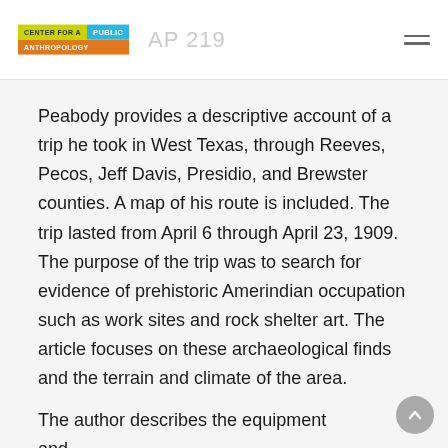Center for a Public Anthropology
Peabody provides a descriptive account of a trip he took in West Texas, through Reeves, Pecos, Jeff Davis, Presidio, and Brewster counties. A map of his route is included. The trip lasted from April 6 through April 23, 1909. The purpose of the trip was to search for evidence of prehistoric Amerindian occupation such as work sites and rock shelter art. The article focuses on these archaeological finds and the terrain and climate of the area.
The author describes the equipment and